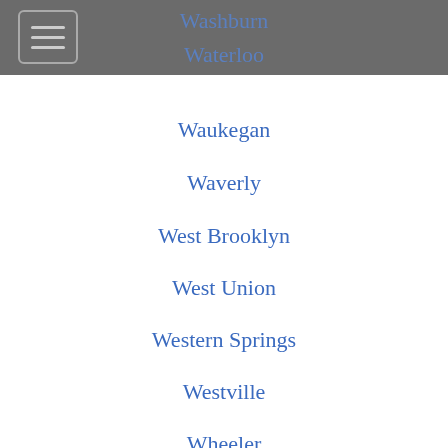Washburn
Waterloo
Waukegan
Waverly
West Brooklyn
West Union
Western Springs
Westville
Wheeler
White Heath